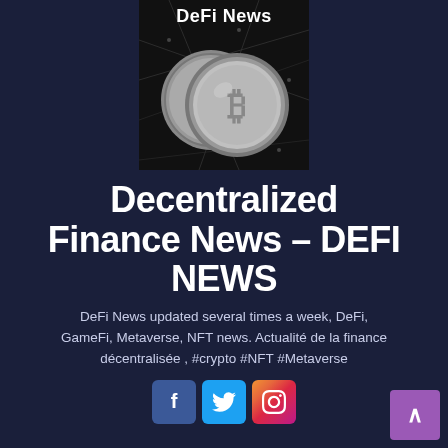[Figure (photo): DeFi News logo image showing two silver Bitcoin coins against a dark networked background, with 'DeFi News' text overlay at top]
Decentralized Finance News – DEFI NEWS
DeFi News updated several times a week, DeFi, GameFi, Metaverse, NFT news. Actualité de la finance décentralisée , #crypto #NFT #Metaverse
[Figure (other): Social media buttons: Facebook (blue f), Twitter (blue bird), Instagram (gradient camera icon)]